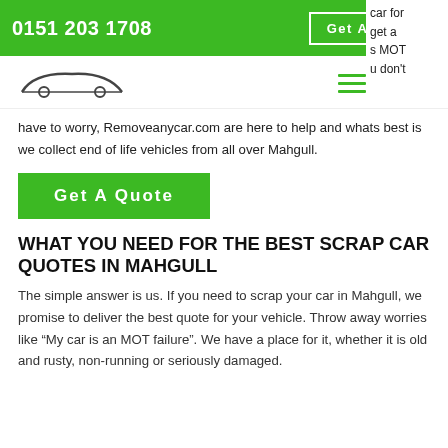0151 203 1708  |  Get A Quote
[Figure (logo): RemoveAnyCar.com logo with stylized car silhouette above the text REMOVEANYCAR.COM]
...car for ...get a ...s MOT ...u don't have to worry, Removeanycar.com are here to help and whats best is we collect end of life vehicles from all over Mahgull.
Get A Quote
WHAT YOU NEED FOR THE BEST SCRAP CAR QUOTES IN MAHGULL
The simple answer is us. If you need to scrap your car in Mahgull, we promise to deliver the best quote for your vehicle. Throw away worries like "My car is an MOT failure". We have a place for it, whether it is old and rusty, non-running or seriously damaged.